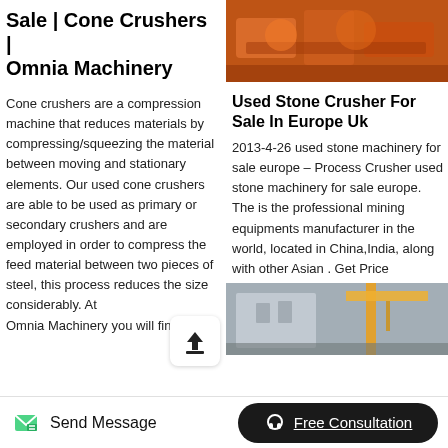Sale | Cone Crushers | Omnia Machinery
Cone crushers are a compression machine that reduces materials by compressing/squeezing the material between moving and stationary elements. Our used cone crushers are able to be used as primary or secondary crushers and are employed in order to compress the feed material between two pieces of steel, this process reduces the size considerably. At Omnia Machinery you will find
[Figure (photo): Photo of orange/industrial machinery, likely a cone crusher]
Used Stone Crusher For Sale In Europe Uk
2013-4-26 used stone machinery for sale europe – Process Crusher used stone machinery for sale europe. The is the professional mining equipments manufacturer in the world, located in China,India, along with other Asian . Get Price
[Figure (photo): Photo of heavy machinery/crane in industrial setting]
Send Message
Free Consultation